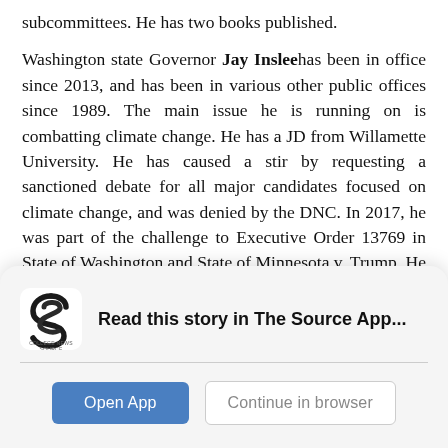subcommittees. He has two books published.
Washington state Governor Jay Inslee has been in office since 2013, and has been in various other public offices since 1989. The main issue he is running on is combatting climate change. He has a JD from Willamette University. He has caused a stir by requesting a sanctioned debate for all major candidates focused on climate change, and was denied by the DNC. In 2017, he was part of the challenge to Executive Order 13769 in State of Washington and State of Minnesota v. Trump. He chaired the Democratic Governors
[Figure (logo): College News Source app logo - stylized S in orange/dark color with text COLLEGE NEWS SOURCE below]
Read this story in The Source App...
Open App
Continue in browser